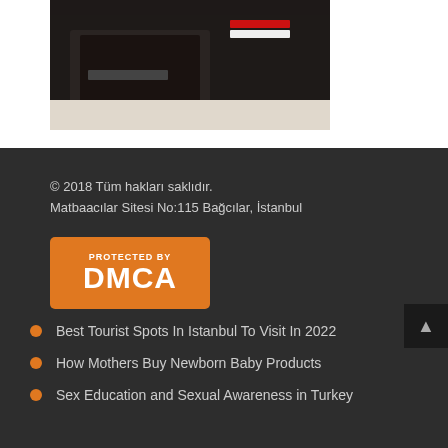[Figure (photo): Photo of books or documents on a dark desk, partially visible, cropped at top]
© 2018 Tüm hakları saklıdır.
Matbaacılar Sitesi No:115 Bağcılar, İstanbul
[Figure (logo): DMCA Protected By badge — orange rectangle with white text 'Protected By' at top and 'DMCA' in large letters below]
Best Tourist Spots In Istanbul To Visit In 2022
How Mothers Buy Newborn Baby Products
Sex Education and Sexual Awareness in Turkey